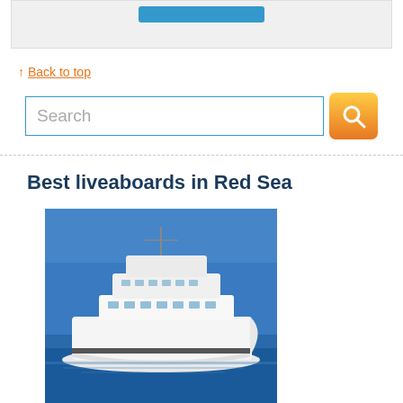[Figure (screenshot): Top partial UI box with a blue button, light gray background]
↑ Back to top
[Figure (screenshot): Search input field with placeholder text 'Search' and an orange search button with magnifying glass icon]
Best liveaboards in Red Sea
[Figure (photo): White luxury motor yacht on blue water with clear blue sky, Red Sea liveaboard vessel]